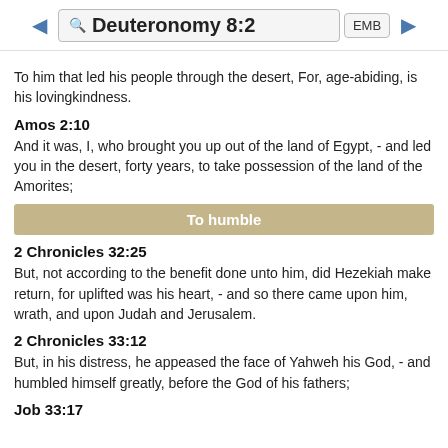Deuteronomy 8:2  EMB
To him that led his people through the desert, For, age-abiding, is his lovingkindness.
Amos 2:10
And it was, I, who brought you up out of the land of Egypt, - and led you in the desert, forty years, to take possession of the land of the Amorites;
To humble
2 Chronicles 32:25
But, not according to the benefit done unto him, did Hezekiah make return, for uplifted was his heart, - and so there came upon him, wrath, and upon Judah and Jerusalem.
2 Chronicles 33:12
But, in his distress, he appeased the face of Yahweh his God, - and humbled himself greatly, before the God of his fathers;
Job 33:17